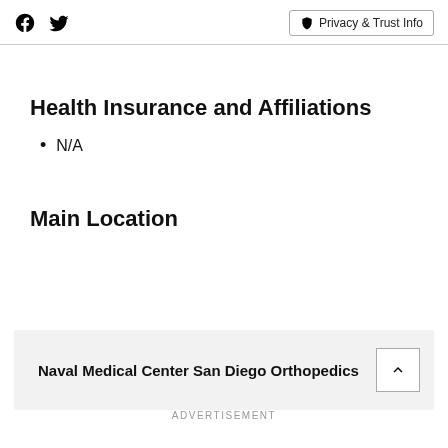Facebook Twitter | Privacy & Trust Info
Health Insurance and Affiliations
N/A
Main Location
Naval Medical Center San Diego Orthopedics
ADVERTISEMENT